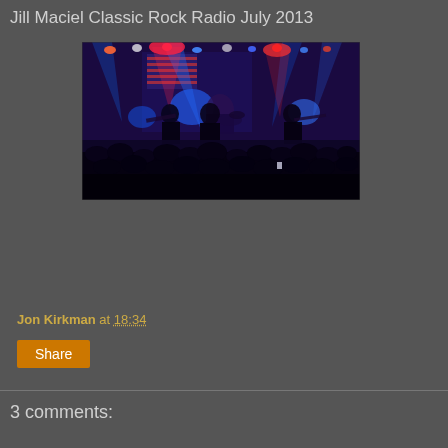Jill Maciel Classic Rock Radio July 2013
[Figure (photo): Concert photo showing band performing on stage with blue and red stage lighting, American flag backdrop, musicians playing guitars and drums, crowd silhouetted in foreground]
Jon Kirkman at 18:34
Share
3 comments: